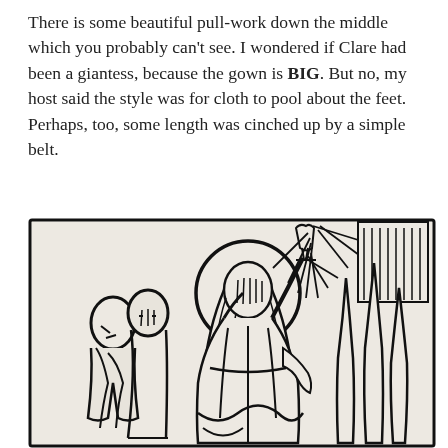There is some beautiful pull-work down the middle which you probably can't see. I wondered if Clare had been a giantess, because the gown is BIG. But no, my host said the style was for cloth to pool about the feet. Perhaps, too, some length was cinched up by a simple belt.
[Figure (illustration): A woodcut-style black and white illustration showing a robed figure with a halo holding up an object, with radiating lines suggesting light or a sunburst. Other figures are visible in the background on the left, and tall pointed shapes (possibly flames or plants) on the right.]